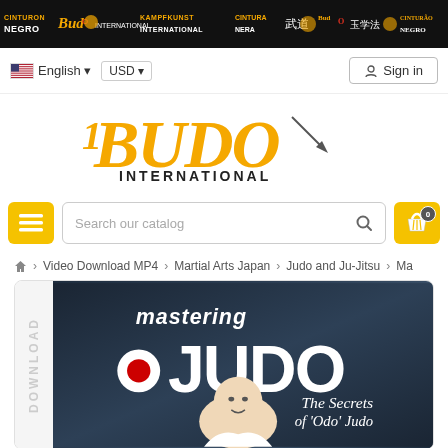[Figure (screenshot): Budo International website header banner with logos in multiple languages on black background]
English | USD | Sign in
[Figure (logo): Budo International logo in gold/orange lettering]
[Figure (screenshot): Search bar with hamburger menu button and shopping cart button]
Home > Video Download MP4 > Martial Arts Japan > Judo and Ju-Jitsu > Ma
[Figure (photo): Product image for Mastering Judo - The Secrets of 'Odo' Judo video download showing elderly Japanese man]